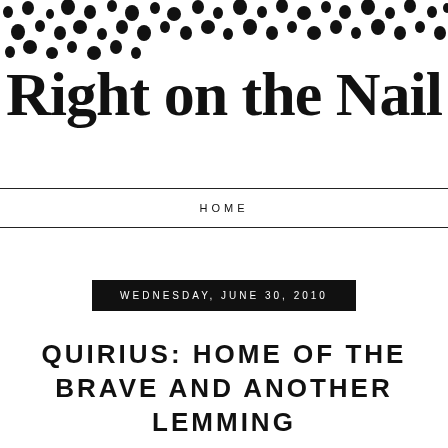[Figure (illustration): Scattered black dot/blob pattern decorating the top of the page, resembling a confetti or paint splatter header graphic]
Right on the Nail
HOME
WEDNESDAY, JUNE 30, 2010
QUIRIUS: HOME OF THE BRAVE AND ANOTHER LEMMING